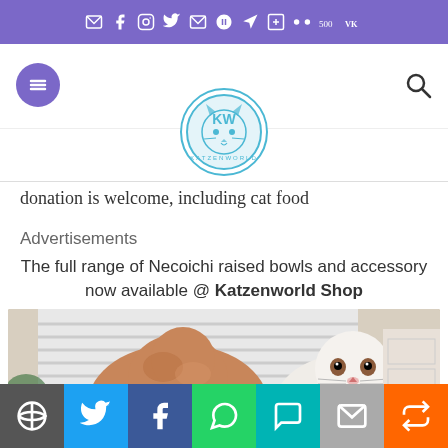Social media icons bar (purple)
[Figure (logo): Katzenworld circular logo with cat face illustration]
donation is welcome, including cat food
Advertisements
The full range of Necoichi raised bowls and accessory now available @ Katzenworld Shop
[Figure (photo): Two cats on a table near a window with blinds. One cat is brown/orange facing away, the other is white looking at the camera.]
Share buttons: WordPress, Twitter, Facebook, WhatsApp, SMS, Email, Share